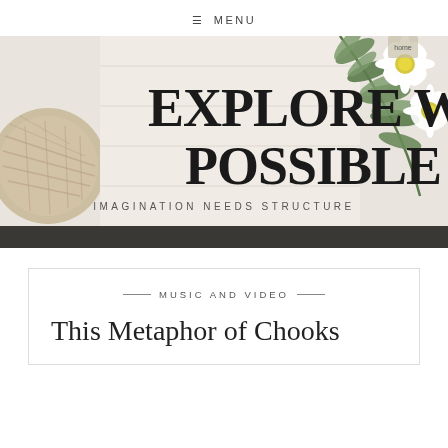☰ MENU
[Figure (illustration): Website banner image showing decorative flatlay with wicker basket, green eucalyptus leaves, and white daisy flowers on a light background. Large serif text reads 'EXPLORE WHAT'S POSSIBLE' with subtitle 'IMAGINATION NEEDS STRUCTURE']
— MUSIC AND VIDEO —
This Metaphor of Chooks